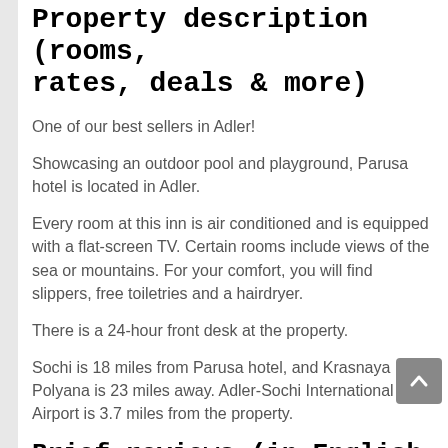Property description (rooms, rates, deals & more)
One of our best sellers in Adler!
Showcasing an outdoor pool and playground, Parusa hotel is located in Adler.
Every room at this inn is air conditioned and is equipped with a flat-screen TV. Certain rooms include views of the sea or mountains. For your comfort, you will find slippers, free toiletries and a hairdryer.
There is a 24-hour front desk at the property.
Sochi is 18 miles from Parusa hotel, and Krasnaya Polyana is 23 miles away. Adler-Sochi International Airport is 3.7 miles from the property.
Brief reviews (in English and other languages)
Очень чистые и уютные номера. Хорошая детская